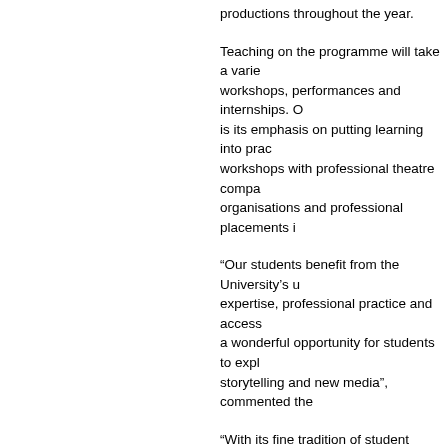productions throughout the year.
Teaching on the programme will take a variety of forms including workshops, performances and internships. One of the key features of the programme is its emphasis on putting learning into practice, through regular workshops with professional theatre companies and arts organisations and professional placements in
“Our students benefit from the University’s unique combination of expertise, professional practice and access to Galway’s arts scene. This is a wonderful opportunity for students to explore theatre, performance, storytelling and new media”, commented the
“With its fine tradition of student drama, its location adjacent to the Gaeltacht, NUI Galway provides an ideal location to explore diverse performance traditions - from the many innovative theatre companies to singing, storytelling and dance traditions. Our programme emphasises that theatre takes a variety of forms - all of which enrich our world,” said Dr Lionel Pilkington, Head of the
Often referred to as Ireland’s cultural capital, Galway has long been a centre for innovative drama, theatre and performance. There are now several flourishing theatre companies whose roots are in NUI Galway. Among the most illustrious of our graduates are founding Druid Theatre members, Tony-Award-winning Director, Garry Hynes and the late Mick Lally.
Garry Hynes has commented on the new course: “I first encountered the theatre in NUI Galway. I am now, through